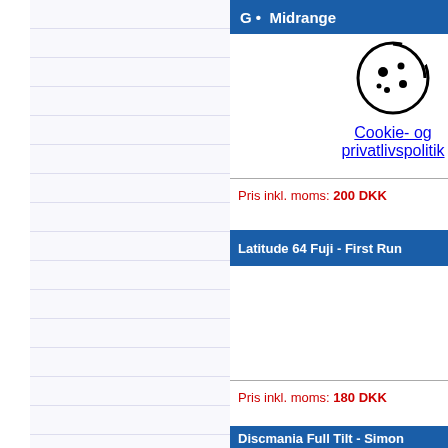G • Midrange
[Figure (illustration): Cookie/privacy icon (circle with dots) and link text 'Cookie- og privatlivspolitik']
Pris inkl. moms: 200 DKK
Latitude 64 Fuji - First Run
Pris inkl. moms: 180 DKK
Discmania Full Tilt - Simon Lizotte - Driver